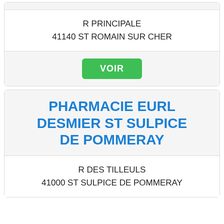R PRINCIPALE
41140 ST ROMAIN SUR CHER
VOIR
PHARMACIE EURL DESMIER ST SULPICE DE POMMERAY
R DES TILLEULS
41000 ST SULPICE DE POMMERAY